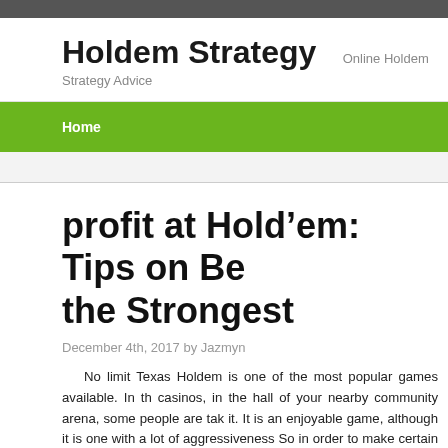Holdem Strategy — Online Holdem Strategy Advice
Home
profit at Hold'em: Tips on Being the Strongest
December 4th, 2017 by Jazmyn
No limit Texas Holdem is one of the most popular games available. In th casinos, in the hall of your nearby community arena, some people are tak it. It is an enjoyable game, although it is one with a lot of aggressiveness So in order to make certain you do not end up in the streets, it's crucial to schemes that can help you. At the end of the day, when you do not know probably you.